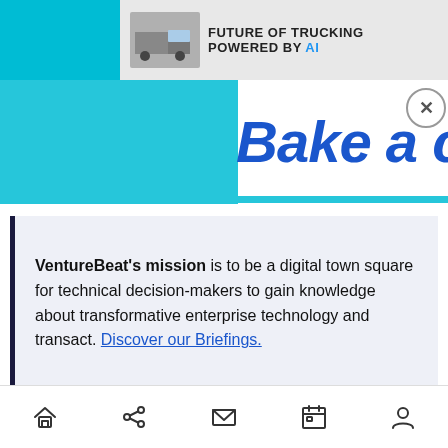[Figure (screenshot): Advertisement banner at top with truck image, 'FUTURE OF TRUCKING POWERED BY AI' text, teal background, and large blue italic 'Bake a choc' text visible, with close button X]
VentureBeat's mission is to be a digital town square for technical decision-makers to gain knowledge about transformative enterprise technology and transact. Discover our Briefings.
ADVERTISEMENT
[Figure (other): Bottom navigation bar with home, share, mail, calendar, and profile icons]